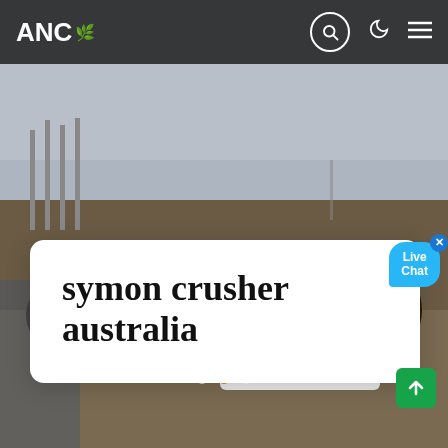[Figure (photo): Construction workers wearing hard hats standing around industrial machinery at a job site, overcast sky in background]
ANC [logo with leaf icon] | Search icon | Dark mode icon | Menu icon
symon crusher australia
[Figure (infographic): Live Chat speech bubble widget in cyan/blue color with close button]